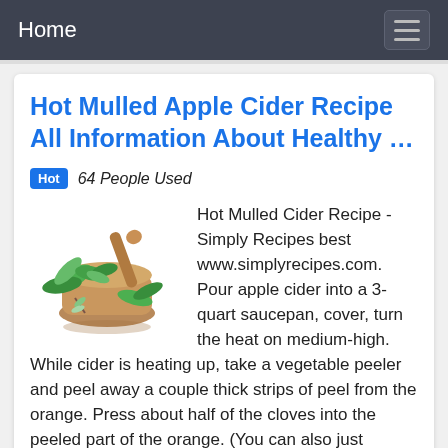Home
Hot Mulled Apple Cider Recipe All Information About Healthy …
Hot  64 People Used
[Figure (photo): Herbs and mortar/pestle illustration with green leaves]
Hot Mulled Cider Recipe - Simply Recipes best www.simplyrecipes.com. Pour apple cider into a 3-quart saucepan, cover, turn the heat on medium-high. While cider is heating up, take a vegetable peeler and peel away a couple thick strips of peel from the orange. Press about half of the cloves into the peeled part of the orange. (You can also just quarter the orange and add the slices and …
Preview / Show details